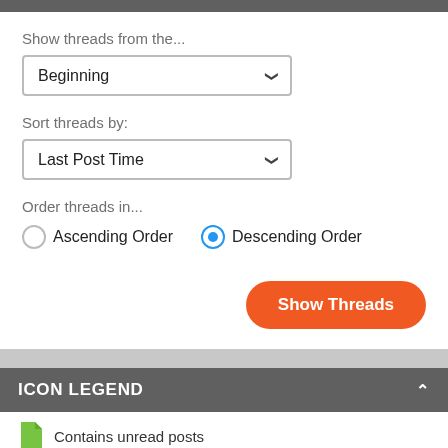Show threads from the...
Beginning
Sort threads by:
Last Post Time
Order threads in...
Ascending Order
Descending Order
Show Threads
ICON LEGEND
Contains unread posts
Contains no unread posts